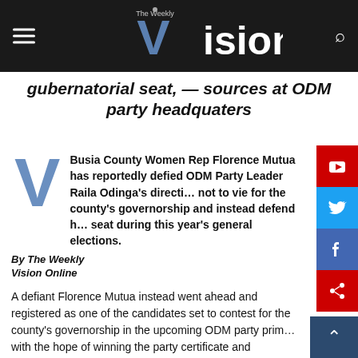The Weekly Vision
gubernatorial seat, — sources at ODM party headquaters
Busia County Women Rep Florence Mutua has reportedly defied ODM Party Leader Raila Odinga's direction not to vie for the county's governorship and instead defend her seat during this year's general elections.
By The Weekly Vision Online
A defiant Florence Mutua instead went ahead and registered as one of the candidates set to contest for the county's governorship in the upcoming ODM party primaries with the hope of winning the party certificate and